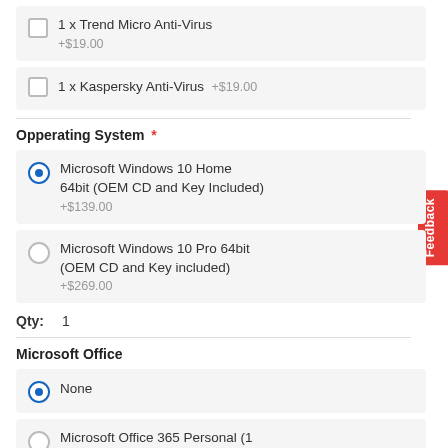1 x Trend Micro Anti-Virus +$19.00
1 x Kaspersky Anti-Virus +$19.00
Opperating System *
Microsoft Windows 10 Home 64bit (OEM CD and Key Included) +$139.00
Microsoft Windows 10 Pro 64bit (OEM CD and Key included) +$269.00
Qty: 1
Microsoft Office
None
Microsoft Office 365 Personal (1 User, 1 Year Subscription)(Word,